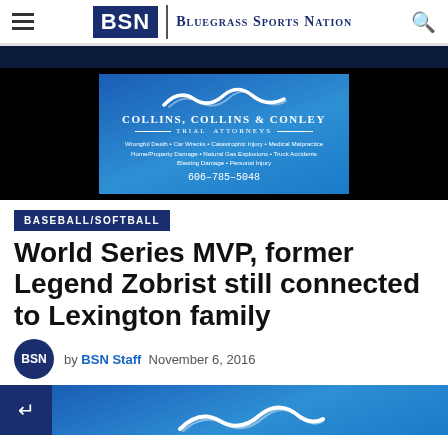BSN | BLUEGRASS SPORTS NATION
[Figure (advertisement): Collins, Collins & Conley Trial Attorneys ad. Wrongful Death • Car Wrecks • Catastrophic Injury • Medical Malpractice • Home/Property Damage • Natural Gas Explosions • Truck Accidents • Blasting Damage • Personal Injury. Phone: 606-785-5048]
BASEBALL/SOFTBALL
World Series MVP, former Legend Zobrist still connected to Lexington family
by BSN Staff  November 6, 2016